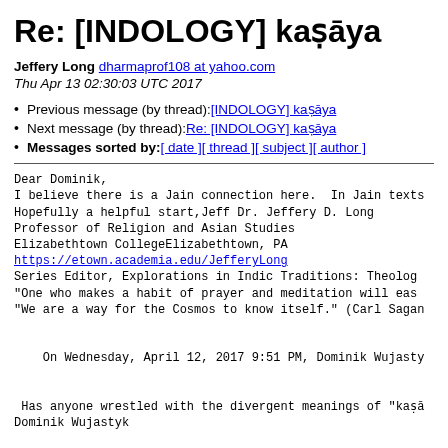Re: [INDOLOGY] kaṣāya
Jeffery Long dharmaprof108 at yahoo.com
Thu Apr 13 02:30:03 UTC 2017
Previous message (by thread): [INDOLOGY] kaṣāya
Next message (by thread): Re: [INDOLOGY] kaṣāya
Messages sorted by: [ date ] [ thread ] [ subject ] [ author ]
Dear Dominik,
I believe there is a Jain connection here.  In Jain texts
Hopefully a helpful start,Jeff Dr. Jeffery D. Long
Professor of Religion and Asian Studies
Elizabethtown CollegeElizabethtown, PA
https://etown.academia.edu/JefferyLong
Series Editor, Explorations in Indic Traditions: Theolog
"One who makes a habit of prayer and meditation will eas
"We are a way for the Cosmos to know itself." (Carl Saga

    On Wednesday, April 12, 2017 9:51 PM, Dominik Wujasty


 Has anyone wrestled with the divergent meanings of "kaṣā
Dominik Wujastyk